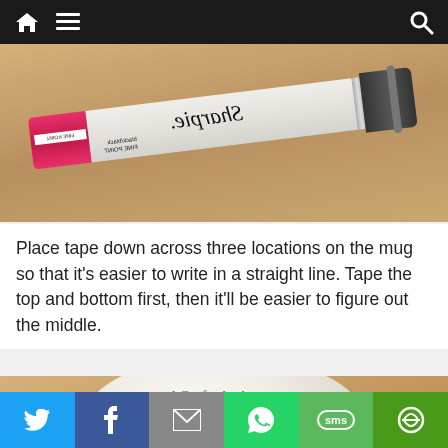Navigation bar with home, menu, and search icons
[Figure (photo): A Sharpie black marker (black/fine point) photographed on a wooden surface, marker shown upside-down/sideways with pink cap visible]
Place tape down across three locations on the mug so that it's easier to write in a straight line. Tape the top and bottom first, then it'll be easier to figure out the middle.
[Figure (photo): A white ceramic mug photographed from above on a wooden surface, with the watermark text 'ACraftyArab.com' visible on the rim area in green script]
Social sharing bar with Twitter, Facebook, Email, WhatsApp, SMS, and More buttons